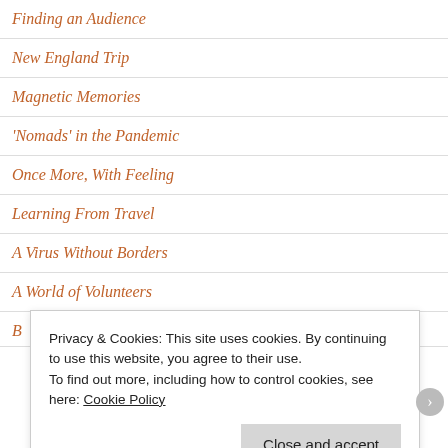Finding an Audience
New England Trip
Magnetic Memories
'Nomads' in the Pandemic
Once More, With Feeling
Learning From Travel
A Virus Without Borders
A World of Volunteers
Books for a Crazy Year
Privacy & Cookies: This site uses cookies. By continuing to use this website, you agree to their use.
To find out more, including how to control cookies, see here: Cookie Policy
Close and accept